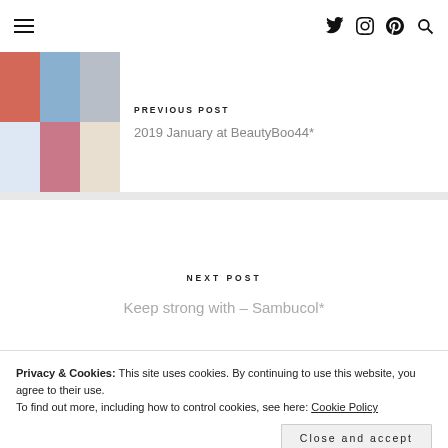Navigation bar with hamburger menu and social icons (Twitter, Instagram, Pinterest, Search)
PREVIOUS POST
2019 January at BeautyBoo44*
NEXT POST
Keep strong with – Sambucol*
Privacy & Cookies: This site uses cookies. By continuing to use this website, you agree to their use. To find out more, including how to control cookies, see here: Cookie Policy
Close and accept